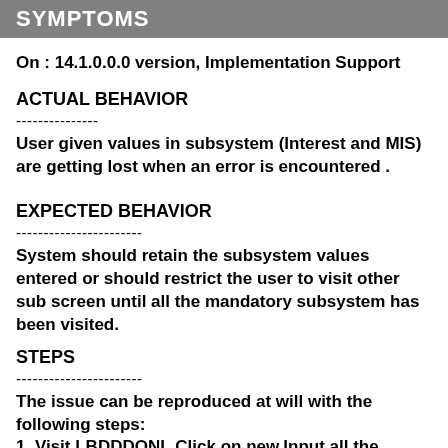SYMPTOMS
On : 14.1.0.0.0 version, Implementation Support
ACTUAL BEHAVIOR
---------------
User given values in subsystem (Interest and MIS) are getting lost when an error is encountered .
EXPECTED BEHAVIOR
-----------------------
System should retain the subsystem values entered or should restrict the user to visit other sub screen until all the mandatory subsystem has been visited.
STEPS
-----------------------
The issue can be reproduced at will with the following steps:
1. Visit LBDDDONL,Click on new,Input all the required fields in main tab.